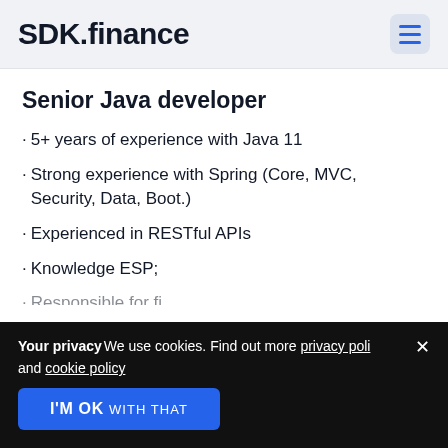SDK.finance
Senior Java developer
5+ years of experience with Java 11
Strong experience with Spring (Core, MVC, Security, Data, Boot.)
Experienced in RESTful APIs
Knowledge ESP;
Your privacy We use cookies. Find out more privacy policy and cookie policy
I'M OK WITH THAT